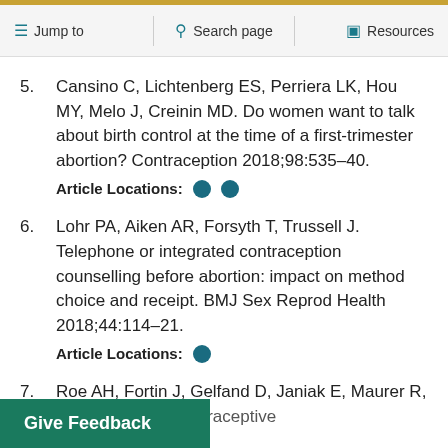Jump to | Search page | Resources
5. Cansino C, Lichtenberg ES, Perriera LK, Hou MY, Melo J, Creinin MD. Do women want to talk about birth control at the time of a first-trimester abortion? Contraception 2018;98:535–40. Article Locations: ● ●
6. Lohr PA, Aiken AR, Forsyth T, Trussell J. Telephone or integrated contraception counselling before abortion: impact on method choice and receipt. BMJ Sex Reprod Health 2018;44:114–21. Article Locations: ●
7. Roe AH, Fortin J, Gelfand D, Janiak E, Maurer R, …vance notice of contraceptive…